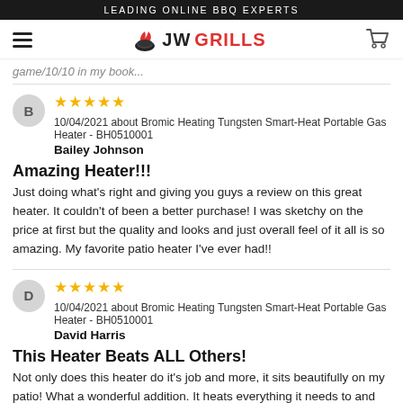LEADING ONLINE BBQ EXPERTS
[Figure (logo): JW Grills logo with flame icon, hamburger menu icon on left, shopping cart icon on right]
game/10/10 in my book...
★★★★★ 10/04/2021 about Bromic Heating Tungsten Smart-Heat Portable Gas Heater - BH0510001
Bailey Johnson
Amazing Heater!!!
Just doing what's right and giving you guys a review on this great heater. It couldn't of been a better purchase! I was sketchy on the price at first but the quality and looks and just overall feel of it all is so amazing. My favorite patio heater I've ever had!!
★★★★★ 10/04/2021 about Bromic Heating Tungsten Smart-Heat Portable Gas Heater - BH0510001
David Harris
This Heater Beats ALL Others!
Not only does this heater do it's job and more, it sits beautifully on my patio! What a wonderful addition. It heats everything it needs to and beyond. Gives the kind of warmth you feel from a mother when you're...